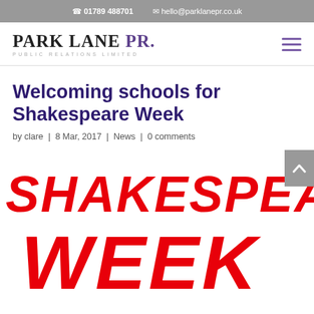📞 01789 488701   ✉ hello@parklanepr.co.uk
[Figure (logo): Park Lane PR. Public Relations Limited logo with serif black and purple text]
Welcoming schools for Shakespeare Week
by clare | 8 Mar, 2017 | News | 0 comments
[Figure (photo): Shakespeare Week promotional image with large red hand-painted text reading SHAKESPEARE WEEK on white background, cropped to show partial text]